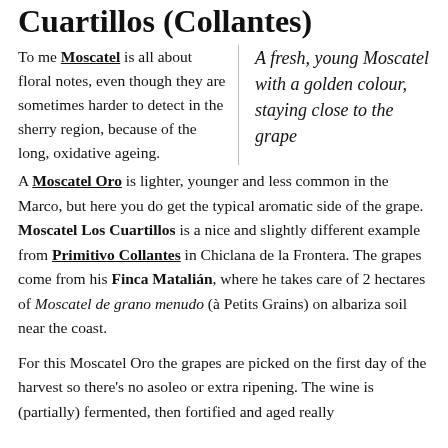Cuartillos (Collantes)
To me Moscatel is all about floral notes, even though they are sometimes harder to detect in the sherry region, because of the long, oxidative ageing.
A fresh, young Moscatel with a golden colour, staying close to the grape
A Moscatel Oro is lighter, younger and less common in the Marco, but here you do get the typical aromatic side of the grape. Moscatel Los Cuartillos is a nice and slightly different example from Primitivo Collantes in Chiclana de la Frontera. The grapes come from his Finca Matalián, where he takes care of 2 hectares of Moscatel de grano menudo (à Petits Grains) on albariza soil near the coast.
For this Moscatel Oro the grapes are picked on the first day of the harvest so there's no asoleo or extra ripening. The wine is (partially) fermented, then fortified and aged really